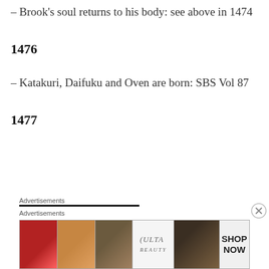– Brook's soul returns to his body: see above in 1474
1476
– Katakuri, Daifuku and Oven are born: SBS Vol 87
1477
[Figure (other): Advertisements banner with beauty/makeup imagery including lips, brush, eye, Ulta Beauty logo, eyes close-up, and SHOP NOW button]